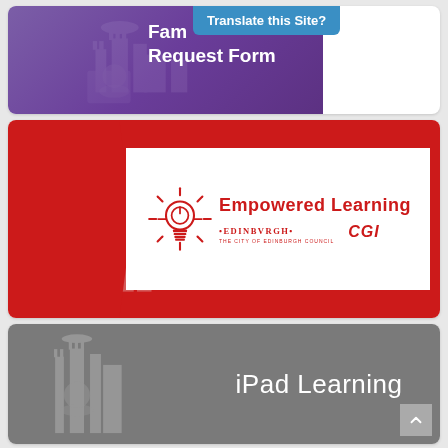[Figure (screenshot): Card showing 'Family Request Form' text on purple background with Edinburgh castle watermark, and a 'Translate this Site?' blue tooltip overlay]
[Figure (screenshot): Card showing 'Empowered Learning' logo with lightbulb icon on red background, with Edinburgh Council and CGI partner logos]
[Figure (screenshot): Card showing 'iPad Learning' text in white on grey background with Edinburgh castle watermark]